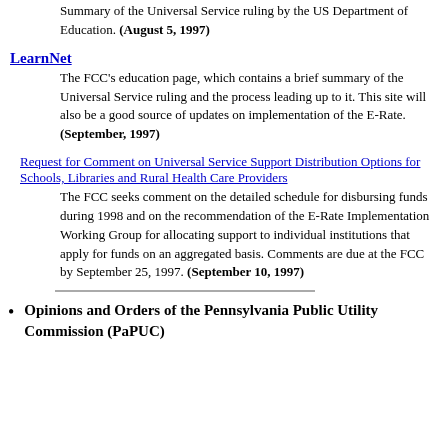Summary of the Universal Service ruling by the US Department of Education. (August 5, 1997)
LearnNet
The FCC's education page, which contains a brief summary of the Universal Service ruling and the process leading up to it. This site will also be a good source of updates on implementation of the E-Rate. (September, 1997)
Request for Comment on Universal Service Support Distribution Options for Schools, Libraries and Rural Health Care Providers
The FCC seeks comment on the detailed schedule for disbursing funds during 1998 and on the recommendation of the E-Rate Implementation Working Group for allocating support to individual institutions that apply for funds on an aggregated basis. Comments are due at the FCC by September 25, 1997. (September 10, 1997)
Opinions and Orders of the Pennsylvania Public Utility Commission (PaPUC)